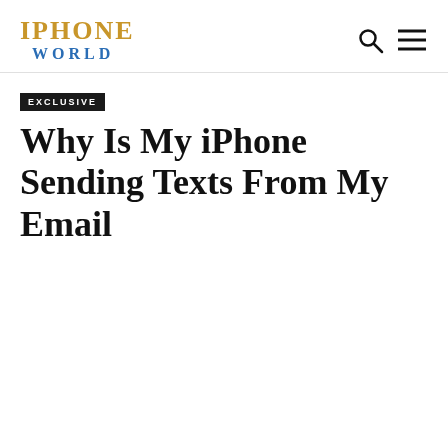IPHONE WORLD
EXCLUSIVE
Why Is My iPhone Sending Texts From My Email